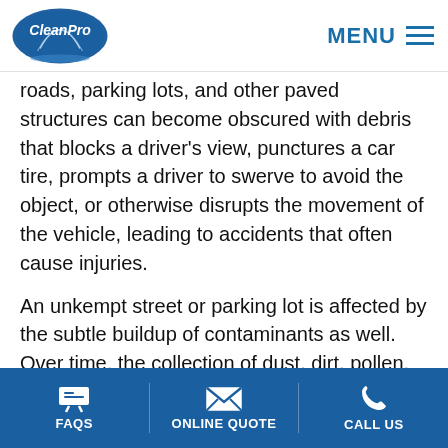CleanPro MENU
roads, parking lots, and other paved structures can become obscured with debris that blocks a driver's view, punctures a car tire, prompts a driver to swerve to avoid the object, or otherwise disrupts the movement of the vehicle, leading to accidents that often cause injuries.
An unkempt street or parking lot is affected by the subtle buildup of contaminants as well. Over time, the collection of dust, dirt, pollen, and other small particles begin to form a layer blanketing the paved surface. As the buildup fills the textured crevasses of the paved surfaces, pedestrians, cyclists, and automotive travelers lose traction. Pedestrians and cyclists are at risk of slipping and falling, and cars and
FAQS   ONLINE QUOTE   CALL US